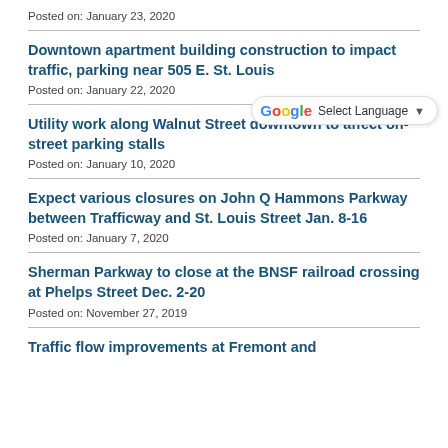Posted on: January 23, 2020
Downtown apartment building construction to impact traffic, parking near 505 E. St. Louis
Posted on: January 22, 2020
Utility work along Walnut Street downtown to affect on-street parking stalls
Posted on: January 10, 2020
Expect various closures on John Q Hammons Parkway between Trafficway and St. Louis Street Jan. 8-16
Posted on: January 7, 2020
Sherman Parkway to close at the BNSF railroad crossing at Phelps Street Dec. 2-20
Posted on: November 27, 2019
Traffic flow improvements at Fremont and